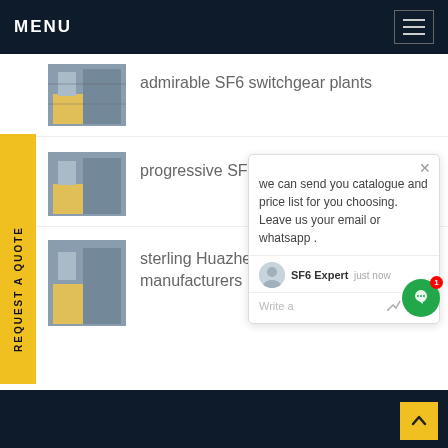MENU
admirable SF6 switchgear plants
progressive SF6 Gazi se
sterling Huazheng SF6 H manufacturers
REQUEST A QUOTE
we can send you catalogue and price list for you choosing.
Leave us your email or whatsapp .
SF6 Expert   just now
Write a